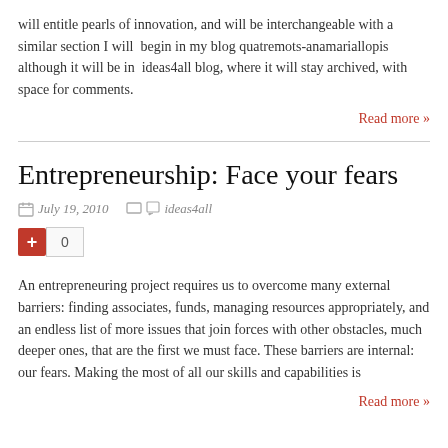will entitle pearls of innovation, and will be interchangeable with a similar section I will  begin in my blog quatremots-anamariallopis although it will be in  ideas4all blog, where it will stay archived, with space for comments.
Read more »
Entrepreneurship: Face your fears
July 19, 2010   ideas4all
+ 0
An entrepreneuring project requires us to overcome many external barriers: finding associates, funds, managing resources appropriately, and an endless list of more issues that join forces with other obstacles, much deeper ones, that are the first we must face. These barriers are internal: our fears. Making the most of all our skills and capabilities is
Read more »